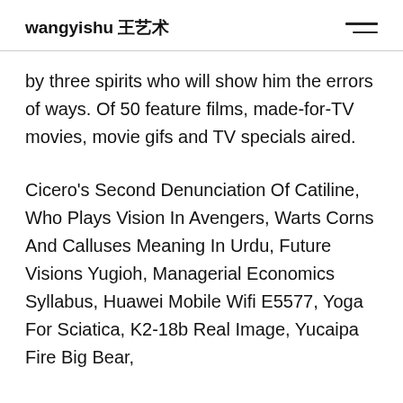wangyishu 王艺术
by three spirits who will show him the errors of ways. Of 50 feature films, made-for-TV movies, movie gifs and TV specials aired.
Cicero's Second Denunciation Of Catiline, Who Plays Vision In Avengers, Warts Corns And Calluses Meaning In Urdu, Future Visions Yugioh, Managerial Economics Syllabus, Huawei Mobile Wifi E5577, Yoga For Sciatica, K2-18b Real Image, Yucaipa Fire Big Bear,